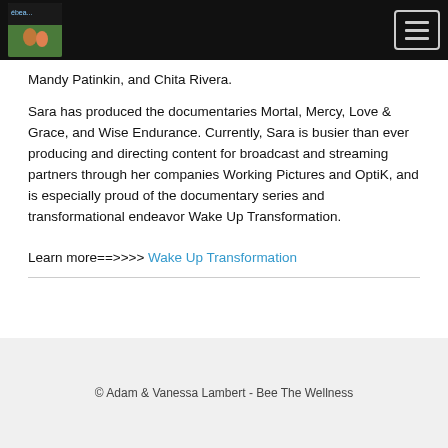Navigation bar with logo and hamburger menu
Mandy Patinkin, and Chita Rivera.
Sara has produced the documentaries Mortal, Mercy, Love & Grace, and Wise Endurance. Currently, Sara is busier than ever producing and directing content for broadcast and streaming partners through her companies Working Pictures and OptiK, and is especially proud of the documentary series and transformational endeavor Wake Up Transformation.
Learn more==>>>>  Wake Up Transformation
© Adam & Vanessa Lambert - Bee The Wellness